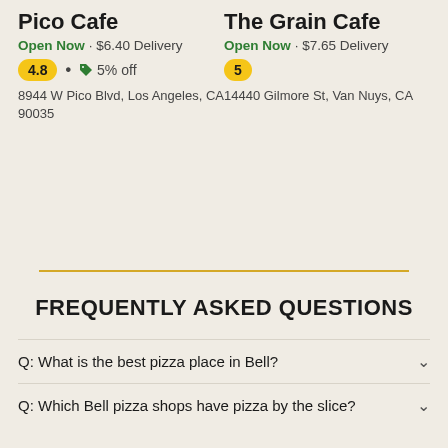Pico Cafe
Open Now · $6.40 Delivery
4.8 · 🏷 5% off
8944 W Pico Blvd, Los Angeles, CA 90035
The Grain Cafe
Open Now · $7.65 Delivery
5
14440 Gilmore St, Van Nuys, CA
FREQUENTLY ASKED QUESTIONS
Q: What is the best pizza place in Bell?
Q: Which Bell pizza shops have pizza by the slice?